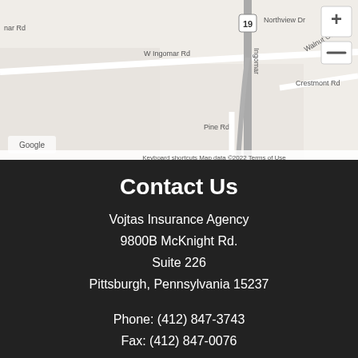[Figure (map): Google Maps screenshot showing W Ingomar Rd, Ingomar Rd, Northview Dr, Walnut Ct, Crestmont Rd, Pine Rd, and route 19. Map data ©2022. Keyboard shortcuts and Terms of Use labels visible. Zoom controls in top right corner.]
Contact Us
Vojtas Insurance Agency
9800B McKnight Rd.
Suite 226
Pittsburgh, Pennsylvania 15237
Phone: (412) 847-3743
Fax: (412) 847-0076